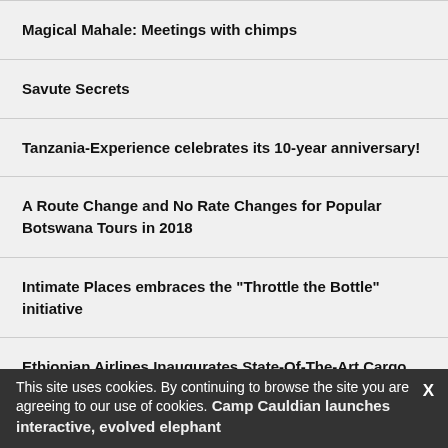Magical Mahale: Meetings with chimps
Savute Secrets
Tanzania-Experience celebrates its 10-year anniversary!
A Route Change and No Rate Changes for Popular Botswana Tours in 2018
Intimate Places embraces the "Throttle the Bottle" initiative
Ethiopian Airlines Inaugurates State-Of-The-Art Cargo Terminal-II
Camp Cauldian launches interactive, evolved elephant
This site uses cookies. By continuing to browse the site you are agreeing to our use of cookies.